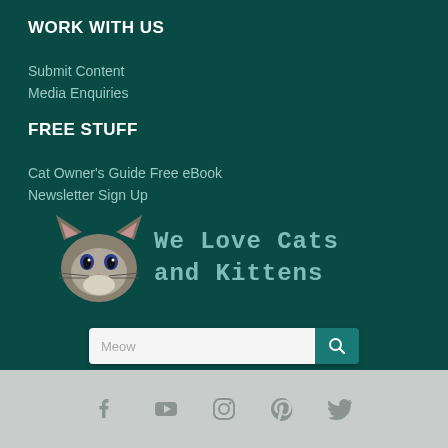WORK WITH US
Submit Content
Media Enquiries
FREE STUFF
Cat Owner's Guide Free eBook
Newsletter Sign Up
[Figure (logo): We Love Cats and Kittens logo with kitten image and text]
[Figure (other): Search bar with placeholder text Meow and search button]
[Figure (other): Footer social media icons: Facebook, YouTube, Instagram, Pinterest, Twitter]